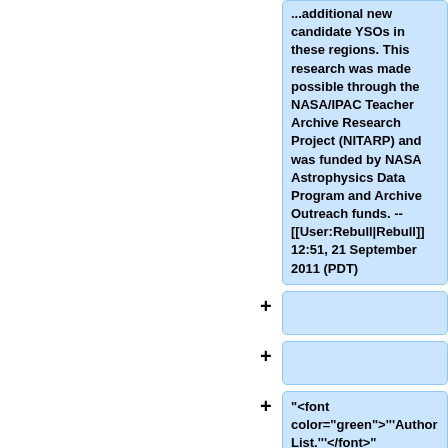...additional new candidate YSOs in these regions. This research was made possible through the NASA/IPAC Teacher Archive Research Project (NITARP) and was funded by NASA Astrophysics Data Program and Archive Outreach funds. -- [[User:Rebull|Rebull]] 12:51, 21 September 2011 (PDT)
"<font color="green">'''Author List.'''</font>"
from Breck School (Minneapolis, MN):
Chelen H. Johnson, Nina G. Killingstad, Taylor S. McCanna, Alayna M. O'Bryan, Stephanie D. Carlson, Melissa L. Clark, Sarah M. Koop, Tiffany A.Ravelomanantsoa